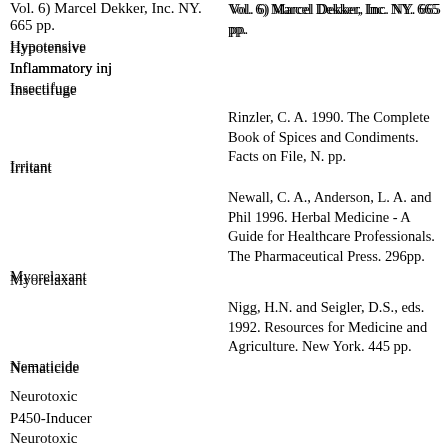Hypotensive
Inflammatory inj
Insectifuge
Rinzler, C. A. 1990. The Complete Book of Spices and Condiments. Facts on File, N. pp.
Irritant
Newall, C. A., Anderson, L. A. and Phillipson, J. D. 1996. Herbal Medicine - A Guide for Healthcare Professionals. The Pharmaceutical Press, London. 296pp.
Myorelaxant
Nigg, H.N. and Seigler, D.S., eds. 1992. Phytochemical Resources for Medicine and Agriculture. Plenum Press, New York. 445 pp.
Nematicide
Neurotoxic
P450-Inducer
Pediculicide 2.3 x pyrethrin
Aloe Research Council - Duke writeup of non-peer reviewd book by Coats and draft by Hennessee, 1982.
Perfume
Pesticide
Martindale's 29th
Rubefacient